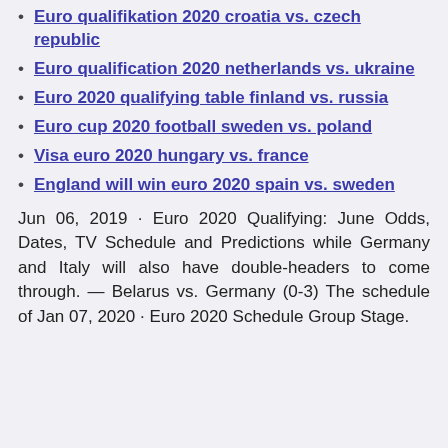Euro qualifikation 2020 croatia vs. czech republic
Euro qualification 2020 netherlands vs. ukraine
Euro 2020 qualifying table finland vs. russia
Euro cup 2020 football sweden vs. poland
Visa euro 2020 hungary vs. france
England will win euro 2020 spain vs. sweden
Jun 06, 2019 · Euro 2020 Qualifying: June Odds, Dates, TV Schedule and Predictions while Germany and Italy will also have double-headers to come through. — Belarus vs. Germany (0-3) The schedule of Jan 07, 2020 · Euro 2020 Schedule Group Stage.